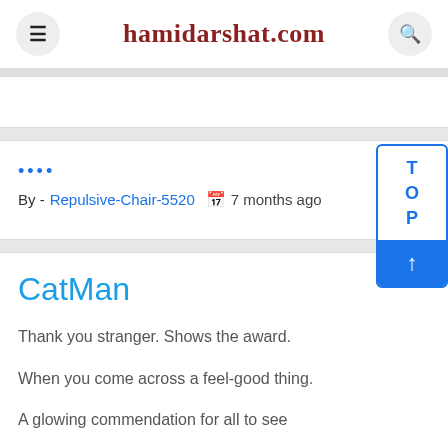hamidarshat.com
By - Repulsive-Chair-5520   7 months ago
Cat⁠Man
Thank you stranger. Shows the award.
When you come across a feel-good thing.
A glowing commendation for all to see
That's a little funny
An amazing showing.